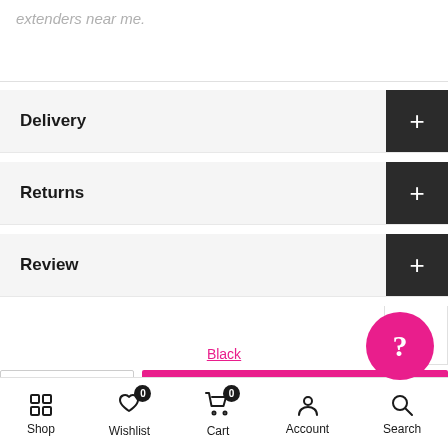extenders near me.
Delivery
Returns
Review
Black
- 1 + ADD TO CART
Shop  Wishlist 0  Cart 0  Account  Search